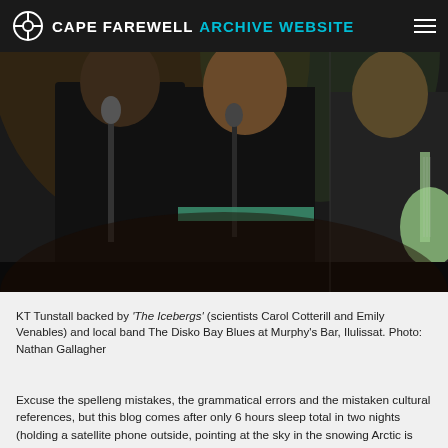CAPE FAREWELL ARCHIVE WEBSITE
[Figure (photo): Band performing on stage: two vocalists holding microphones and a guitarist playing an electric guitar under stage lighting.]
KT Tunstall backed by 'The Icebergs' (scientists Carol Cotterill and Emily Venables) and local band The Disko Bay Blues at Murphy's Bar, Ilulissat. Photo: Nathan Gallagher
Excuse the spelleng mistakes, the grammatical errors and the mistaken cultural references, but this blog comes after only 6 hours sleep total in two nights (holding a satellite phone outside, pointing at the sky in the snowing Arctic is certainly a new experience for 3am internet roaming). This alongside the introduction to the most dramatic landscape on earth can only lead to a brain that somewhat resembles the